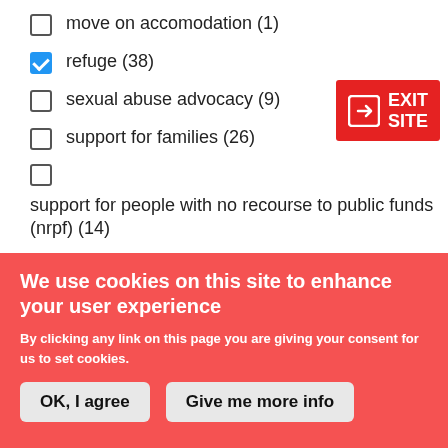move on accomodation (1)
refuge (38)
sexual abuse advocacy (9)
support for families (26)
support for people with no recourse to public funds (nrpf) (14)
We use cookies on this site to enhance your user experience
By clicking any link on this page you are giving your consent for us to set cookies.
OK, I agree
Give me more info